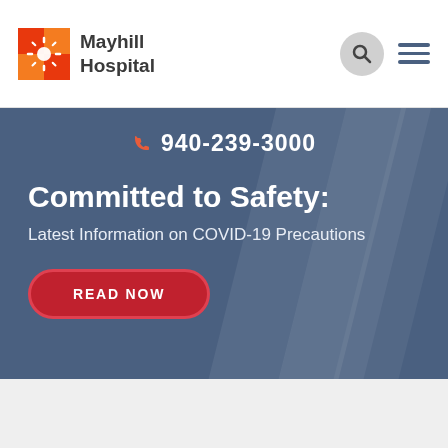Mayhill Hospital
940-239-3000
Committed to Safety:
Latest Information on COVID-19 Precautions
READ NOW